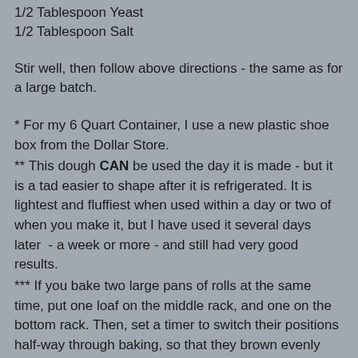1/2 Tablespoon Yeast
1/2 Tablespoon Salt
Stir well, then follow above directions - the same as for a large batch.
* For my 6 Quart Container, I use a new plastic shoe box from the Dollar Store.
** This dough CAN be used the day it is made - but it is a tad easier to shape after it is refrigerated. It is lightest and fluffiest when used within a day or two of when you make it, but I have used it several days later  - a week or more - and still had very good results.
*** If you bake two large pans of rolls at the same time, put one loaf on the middle rack, and one on the bottom rack. Then, set a timer to switch their positions half-way through baking, so that they brown evenly both on the top and on the bottom.
***** I have tested this recipe with a Sucralose Measures-like-Sugar (Splenda or Apriva) and it works well. So if you watch your sugars, feel free to substitute.